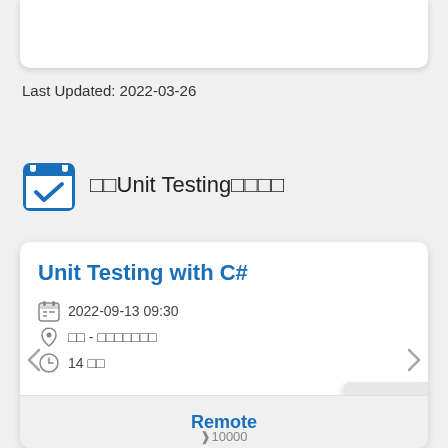Last Updated: 2022-03-26
Unit Testing
Unit Testing with C#
2022-09-13 09:30
14
Remote